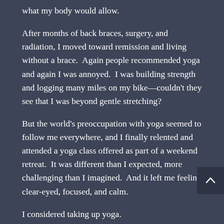what my body would allow.
After months of back braces, surgery, and radiation, I moved toward remission and living without a brace.  Again people recommended yoga and again I was annoyed.  I was building strength and logging many miles on my bike—couldn't they see that I was beyond gentle stretching?
But the world's preoccupation with yoga seemed to follow me everywhere, and I finally relented and attended a yoga class offered as part of a weekend retreat.  It was different than I expected, more challenging than I imagined.  And it left me feeling clear-eyed, focused, and calm.
I considered taking up yoga.
Then a yoga studio opened two blocks from my house.  I took it as a sign and started with a basic